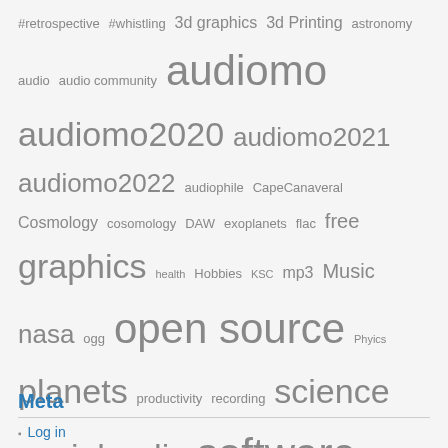#retrospective #whistling 3d graphics 3d Printing astronomy audio audio community audiomo audiomo2020 audiomo2021 audiomo2022 audiophile CapeCanaveral Cosmology cosomology DAW exoplanets flac free graphics health Hobbies KSC mp3 Music nasa ogg open source Phyics planets productivity recording science socialaudio software solarsystem space spaceexploration spaceflight Telescope video
Meta
Log in